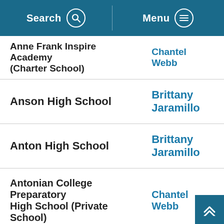Search  Menu
| School | Contact |
| --- | --- |
| Anne Frank Inspire Academy (Charter School) | Chantel Webb |
| Anson High School | Brittany Jaramillo |
| Anton High School | Brittany Jaramillo |
| Antonian College Preparatory High School (Private School) | Chantel Webb |
| Apple Springs High School | Morgan Diehl |